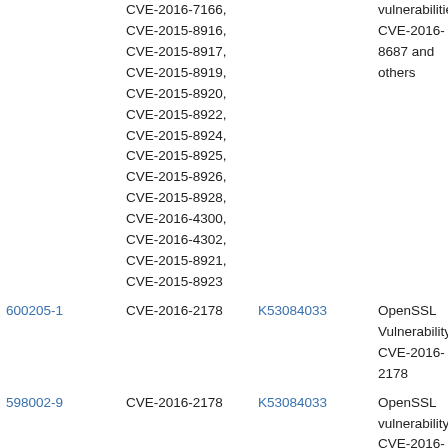| ID | CVE | KB/Link | Description |
| --- | --- | --- | --- |
|  | CVE-2016-7166, CVE-2015-8916, CVE-2015-8917, CVE-2015-8919, CVE-2015-8920, CVE-2015-8922, CVE-2015-8924, CVE-2015-8925, CVE-2015-8926, CVE-2015-8928, CVE-2016-4300, CVE-2016-4302, CVE-2015-8921, CVE-2015-8923 |  | vulnerabilities: CVE-2016-8687 and others |
| 600205-1 | CVE-2016-2178 | K53084033 | OpenSSL Vulnerability: CVE-2016-2178 |
| 598002-9 | CVE-2016-2178 | K53084033 | OpenSSL vulnerability CVE-2016- |